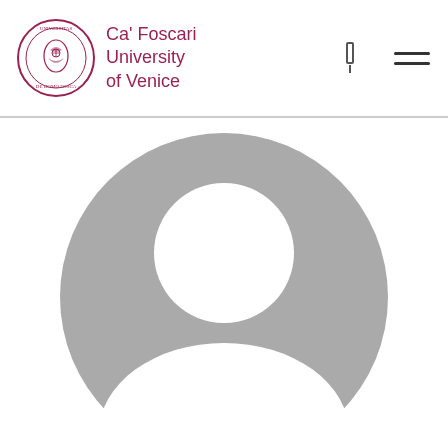[Figure (logo): Ca' Foscari University of Venice logo with circular seal in dark rose/crimson color]
Ca' Foscari University of Venice
[Figure (illustration): Generic gray placeholder profile avatar showing a circular silhouette of a person (head and shoulders) on white background]